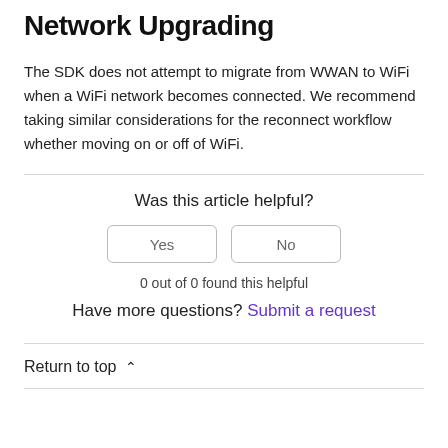Network Upgrading
The SDK does not attempt to migrate from WWAN to WiFi when a WiFi network becomes connected. We recommend taking similar considerations for the reconnect workflow whether moving on or off of WiFi.
Was this article helpful?
Yes   No
0 out of 0 found this helpful
Have more questions? Submit a request
Return to top